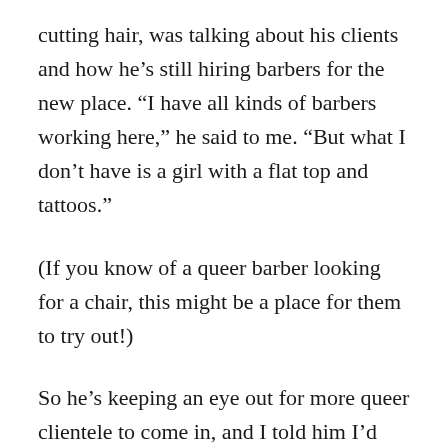cutting hair, was talking about his clients and how he's still hiring barbers for the new place. “I have all kinds of barbers working here,” he said to me. “But what I don’t have is a girl with a flat top and tattoos.”
(If you know of a queer barber looking for a chair, this might be a place for them to try out!)
So he’s keeping an eye out for more queer clientele to come in, and I told him I’d tell my story and tell y’all to go check them